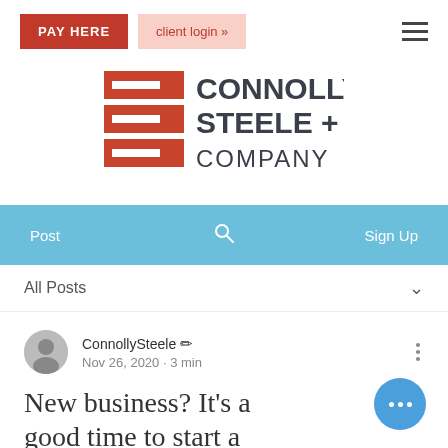[Figure (screenshot): Website navigation bar with PAY HERE button (dark red), client login button (light pink/red text), and hamburger menu icon]
[Figure (logo): Connolly Steele + Company logo with red stacked S-shape icon and dark gray text]
[Figure (screenshot): Light blue navigation bar with Post, search icon, and Sign Up]
All Posts
ConnollySteele  Nov 26, 2020 · 3 min
New business? It's a good time to start a